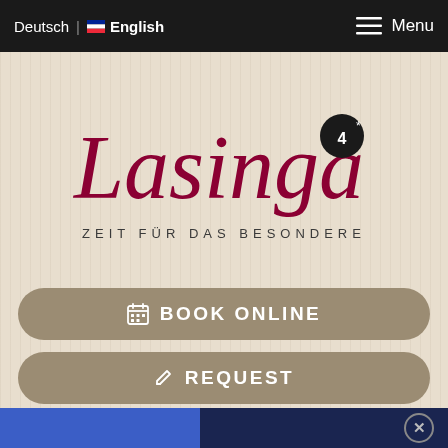Deutsch | English  Menu
[Figure (logo): Lasinga 4* hotel logo with cursive script and tagline ZEIT FÜR DAS BESONDERE]
📅 BOOK ONLINE
✏ REQUEST